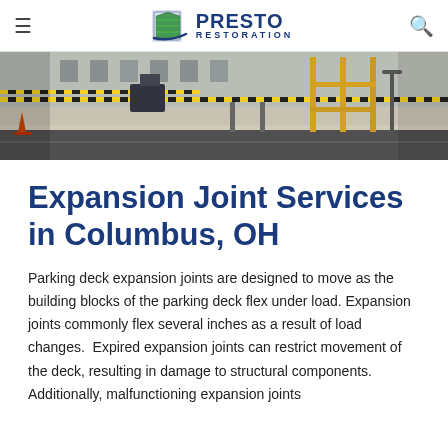Presto Restoration
[Figure (photo): Construction site photo showing a parking area with caution tape, orange cones, scaffolding, and road work in progress]
Expansion Joint Services in Columbus, OH
Parking deck expansion joints are designed to move as the building blocks of the parking deck flex under load. Expansion joints commonly flex several inches as a result of load changes.  Expired expansion joints can restrict movement of the deck, resulting in damage to structural components.  Additionally, malfunctioning expansion joints